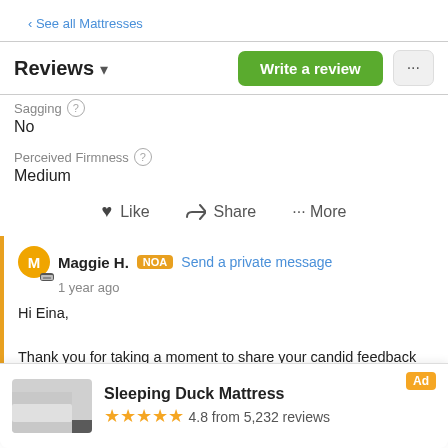< See all Mattresses
Reviews ▾
Sagging (?)
No
Perceived Firmness (?)
Medium
♥ Like   < Share   ··· More
Maggie H. NOA Send a private message
1 year ago
Hi Eina,

Thank you for taking a moment to share your candid feedback regarding your Noa mattress....
Read more ▾
[Figure (screenshot): Sleeping Duck Mattress advertisement banner with mattress image, 4.8 star rating from 5,232 reviews, and Ad label]